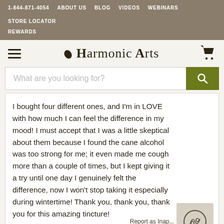1-844-871-4054  ABOUT US  BLOG  VIDEOS  WEBINARS  STORE LOCATOR  REWARDS
[Figure (logo): Harmonic Arts logo with leaf icon, hamburger menu left, shopping cart right]
What are you looking for?
I bought four different ones, and I'm in LOVE with how much I can feel the difference in my mood! I must accept that I was a little skeptical about them because I found the cane alcohol was too strong for me; it even made me cough more than a couple of times, but I kept giving it a try until one day I genuinely felt the difference, now I won't stop taking it especially during wintertime! Thank you, thank you, thank you for this amazing tincture!
Report as Inap...